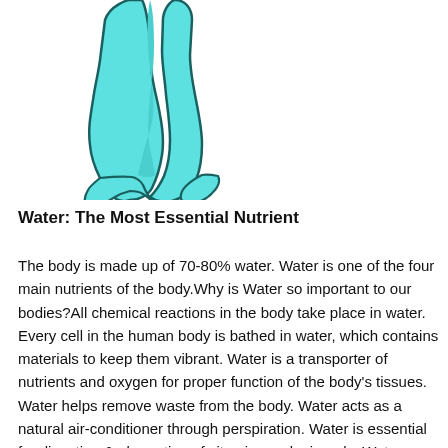[Figure (illustration): Illustration of the lower half of a human body (legs) filled with a light cyan/turquoise color with a dark teal outline, representing the water content of the human body.]
Water: The Most Essential Nutrient
The body is made up of 70-80% water. Water is one of the four main nutrients of the body.Why is Water so important to our bodies?All chemical reactions in the body take place in water. Every cell in the human body is bathed in water, which contains materials to keep them vibrant. Water is a transporter of nutrients and oxygen for proper function of the body's tissues. Water helps remove waste from the body. Water acts as a natural air-conditioner through perspiration. Water is essential for digestion & absorption of vitamins and minerals. Water keeps our skin moist & supple, as well as a natural lubricator for our joints and internal organs.